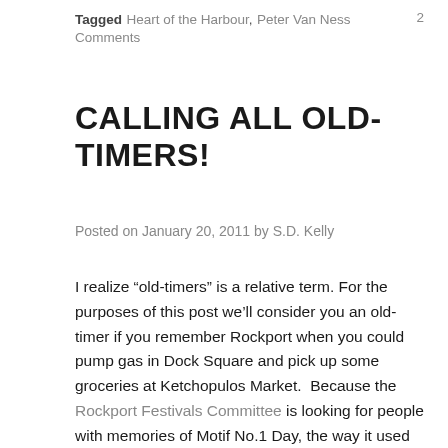Tagged Heart of the Harbour, Peter Van Ness   2 Comments
CALLING ALL OLD-TIMERS!
Posted on January 20, 2011 by S.D. Kelly
I realize “old-timers” is a relative term. For the purposes of this post we’ll consider you an old-timer if you remember Rockport when you could pump gas in Dock Square and pick up some groceries at Ketchopulos Market.  Because the Rockport Festivals Committee is looking for people with memories of Motif No.1 Day, the way it used to be. The Rockport Festivals Committee wants to know just what it was like back in the day. They’re putting together an oral history of Motif No. 1 Day to